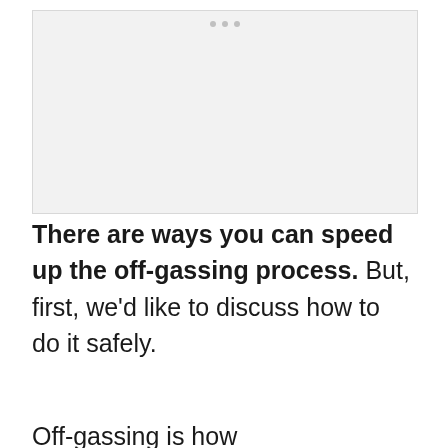[Figure (photo): A light gray rectangular image placeholder with three small dots at the top center, representing a loading or placeholder image area.]
There are ways you can speed up the off-gassing process. But, first, we'd like to discuss how to do it safely.
Off-gassing is how...